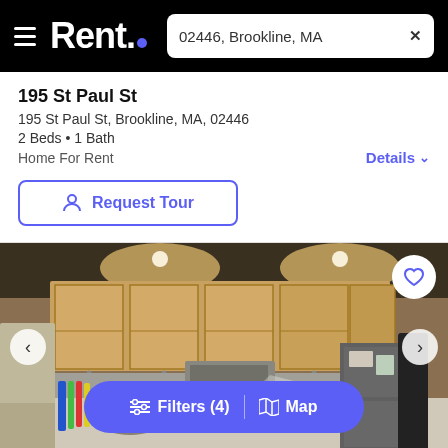Rent. | 02446, Brookline, MA
195 St Paul St
195 St Paul St, Brookline, MA, 02446
2 Beds • 1 Bath
Home For Rent
Request Tour
[Figure (photo): Interior kitchen photo showing wooden cabinets, countertop, refrigerator, and kitchen appliances with warm lighting.]